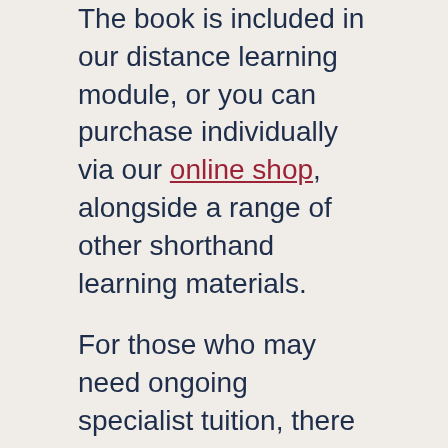The book is included in our distance learning module, or you can purchase individually via our online shop, alongside a range of other shorthand learning materials.
For those who may need ongoing specialist tuition, there are also a number of freelance shorthand tutors offering in-person or remote tuition. Find a shorthand tutor.
How can I sit an exam?
We approve training providers and employers to deliver shorthand exams for their candidates and